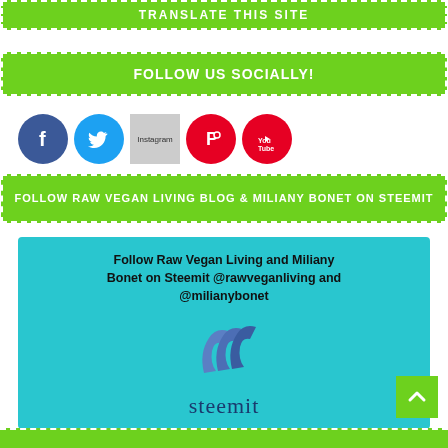TRANSLATE THIS SITE
FOLLOW US SOCIALLY!
[Figure (other): Social media icons: Facebook, Twitter, Instagram, Pinterest, YouTube]
FOLLOW RAW VEGAN LIVING BLOG & MILIANY BONET ON STEEMIT
[Figure (other): Steemit promotional card with cyan background showing text 'Follow Raw Vegan Living and Miliany Bonet on Steemit @rawveganliving and @milianybonet' with Steemit logo and wordmark]